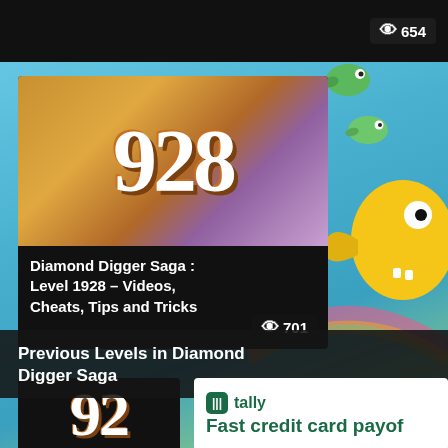[Figure (screenshot): Top black bar with eye/view count badge showing 654]
[Figure (screenshot): Game thumbnail showing level 928 in Diamond Digger Saga with brown number styling on purple background]
Diamond Digger Saga : Level 1928 – Videos, Cheats, Tips and Tricks
👁701
Previous Levels in Diamond Digger Saga
[Figure (screenshot): Partial game thumbnail showing level 92 at bottom of page]
[Figure (screenshot): Tally advertisement: tally logo and text 'Fast credit card payof']